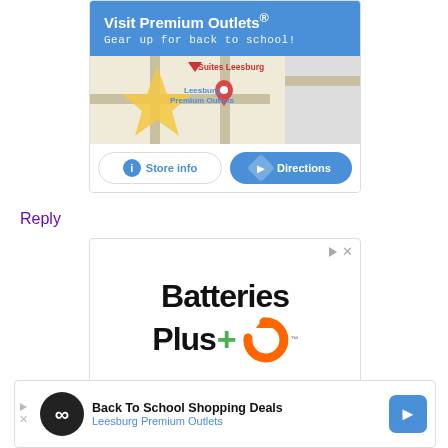[Figure (screenshot): Premium Outlets ad card with blue header 'Visit Premium Outlets® Gear up for back to school!', a map showing Leesburg Premium Outlets with a pin, and two buttons: 'Store info' and 'Directions']
Reply
[Figure (screenshot): Batteries Plus+ advertisement with large bold text 'Batteries Plus+' with green plus sign and orange circular arrow logo with TM mark]
[Figure (screenshot): Bottom banner ad: Back To School Shopping Deals, Leesburg Premium Outlets, with infinity logo and directions arrow button]